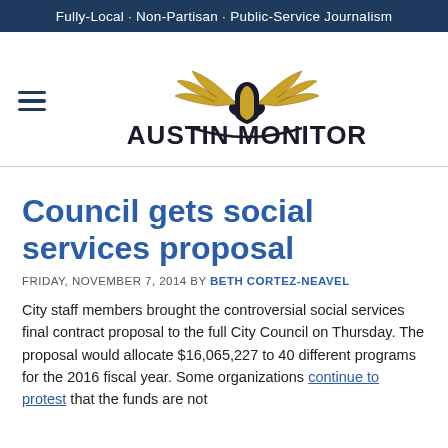Fully-Local · Non-Partisan · Public-Service Journalism
[Figure (logo): Austin Monitor logo with winged emblem above text 'AUSTIN MONITOR' and hamburger menu icon to the left]
Council gets social services proposal
FRIDAY, NOVEMBER 7, 2014 BY BETH CORTEZ-NEAVEL
City staff members brought the controversial social services final contract proposal to the full City Council on Thursday. The proposal would allocate $16,065,227 to 40 different programs for the 2016 fiscal year. Some organizations continue to protest that the funds are not